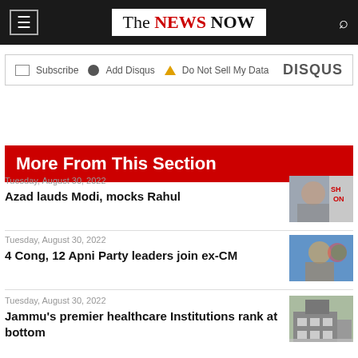The NEWS NOW
Subscribe  Add Disqus  Do Not Sell My Data  DISQUS
More From This Section
Tuesday, August 30, 2022
Azad lauds Modi, mocks Rahul
Tuesday, August 30, 2022
4 Cong, 12 Apni Party leaders join ex-CM
Tuesday, August 30, 2022
Jammu's premier healthcare Institutions rank at bottom